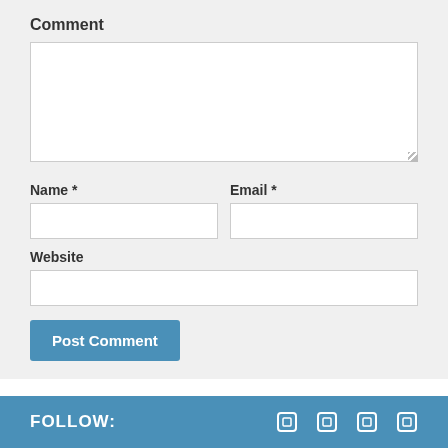Comment
[Figure (screenshot): Comment form textarea - empty white input box]
Name *
Email *
[Figure (screenshot): Name input field - empty white input box]
[Figure (screenshot): Email input field - empty white input box]
Website
[Figure (screenshot): Website input field - empty white input box]
[Figure (screenshot): Post Comment button - blue button]
This site uses Akismet to reduce spam. Learn how your comment data is processed.
FOLLOW: